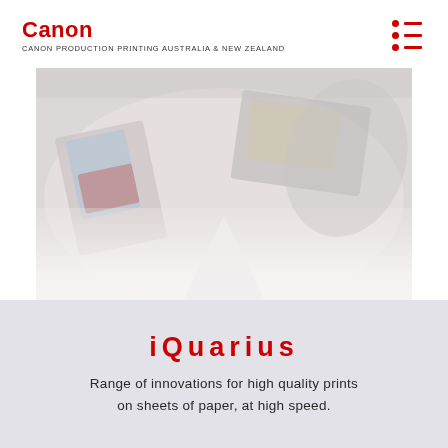Canon
CANON PRODUCTION PRINTING AUSTRALIA & NEW ZEALAND
[Figure (photo): A blurred, faded overhead view of printed sheets and publications on a surface, showing colorful magazine/newspaper prints. The image is heavily washed out and fades to white toward the bottom.]
iQuarius
Range of innovations for high quality prints on sheets of paper, at high speed.